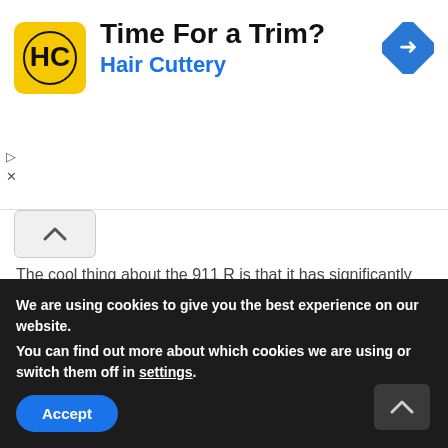[Figure (other): Hair Cuttery advertisement banner with logo, 'Time For a Trim?' headline, and navigation arrow icon]
The cool thing about the 911 R is that it has significantly less sound deadening material than other current-generation 911s. That combined with a rear-seat delete means the cabin gets filled with tons of fantastic intake noise when you accelerate. It's loud in the best possible way.
We are using cookies to give you the best experience on our website.
You can find out more about which cookies we are using or switch them off in settings.